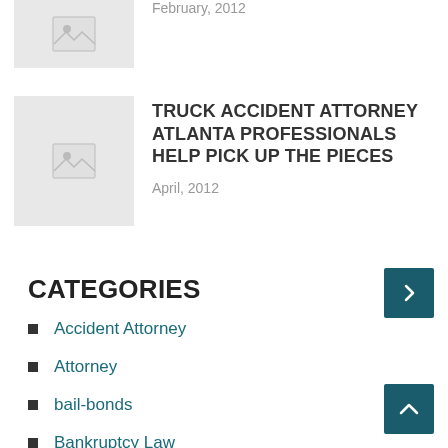[Figure (photo): Thumbnail placeholder image (grey box with mountain/image icon), partially visible at top]
February, 2012
[Figure (photo): Thumbnail placeholder image (grey box with mountain/image icon)]
TRUCK ACCIDENT ATTORNEY ATLANTA PROFESSIONALS HELP PICK UP THE PIECES
April, 2012
CATEGORIES
Accident Attorney
Attorney
bail-bonds
Bankruptcy Law
Bankruptcy Lawyer